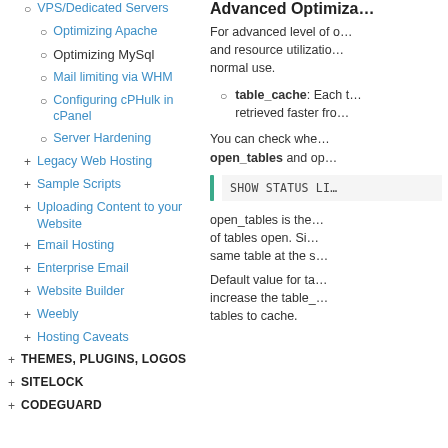VPS/Dedicated Servers (truncated)
Optimizing Apache
Optimizing MySql
Mail limiting via WHM
Configuring cPHulk in cPanel
Server Hardening
Legacy Web Hosting
Sample Scripts
Uploading Content to your Website
Email Hosting
Enterprise Email
Website Builder
Weebly
Hosting Caveats
THEMES, PLUGINS, LOGOS
SITELOCK
CODEGUARD
Advanced Optimiza...
For advanced level of o... and resource utilization... normal use.
table_cache: Each t... retrieved faster fro...
You can check whe... open_tables and op...
SHOW STATUS LI...
open_tables is the... of tables open. Si... same table at the s...
Default value for ta... increase the table_... tables to cache.